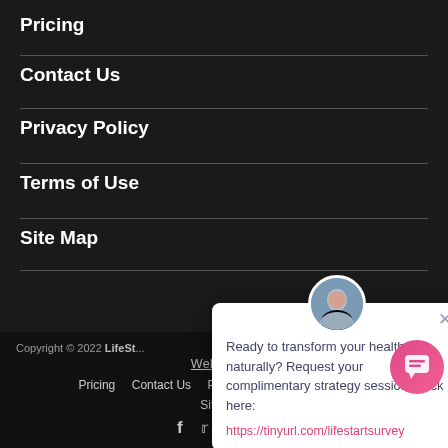Pricing
Contact Us
Privacy Policy
Terms of Use
Site Map
[Figure (screenshot): Chat popup widget with avatar photo, close button (×), message text 'Ready to transform your health naturally? Request your complimentary strategy session. Click here:' and link 'https://tinyurl.com/lifestartsurvey']
Copyright © 2022 LifeSt... · Webmaster · Pricing  Contact Us  Privacy Policy  Terms of Use · Site Map · Social icons: f  twitter  pinterest  instagram
[Figure (illustration): Pink gradient circular chat button in bottom-right corner with speech bubble icon]